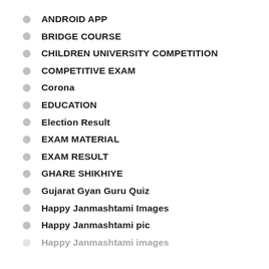ANDROID APP
BRIDGE COURSE
CHILDREN UNIVERSITY COMPETITION
COMPETITIVE EXAM
Corona
EDUCATION
Election Result
EXAM MATERIAL
EXAM RESULT
GHARE SHIKHIYE
Gujarat Gyan Guru Quiz
Happy Janmashtami Images
Happy Janmashtami pic
Happy Janmashtami images